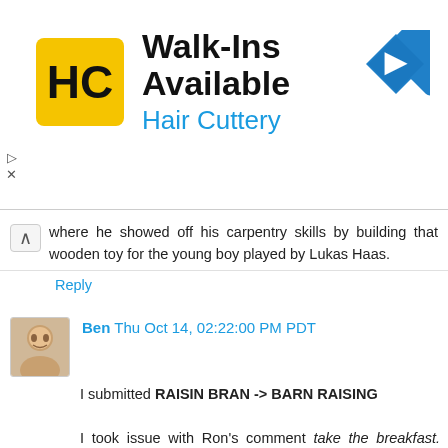[Figure (logo): Hair Cuttery advertisement banner with HC logo, 'Walk-Ins Available' headline, 'Hair Cuttery' subtext, and a blue navigation arrow icon]
where he showed off his carpentry skills by building that wooden toy for the young boy played by Lukas Haas.
Reply
Ben Thu Oct 14, 02:22:00 PM PDT
I submitted RAISIN BRAN -> BARN RAISING

I took issue with Ron's comment take the breakfast. Remove all repeated letters. You are left with something used in making ancient cosmetics.

I assume Rob was talking about ancient Egypt's use of Stibnite as eyeshade. This confirmed my answer of Raisin Bran, since you remove the repeated letters and you get sb, which is much like the chemical symbol for Antimony (Sb)